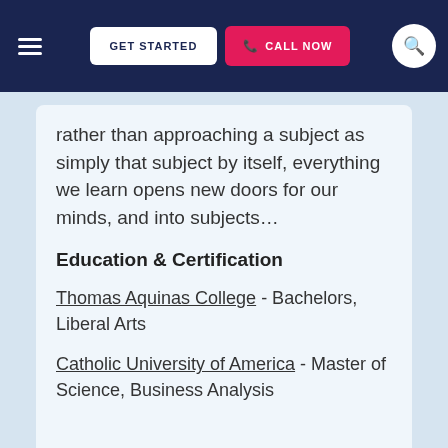GET STARTED | CALL NOW
rather than approaching a subject as simply that subject by itself, everything we learn opens new doors for our minds, and into subjects…
Education & Certification
Thomas Aquinas College - Bachelors, Liberal Arts
Catholic University of America - Master of Science, Business Analysis
View this Irvine Latin Tutor ▶